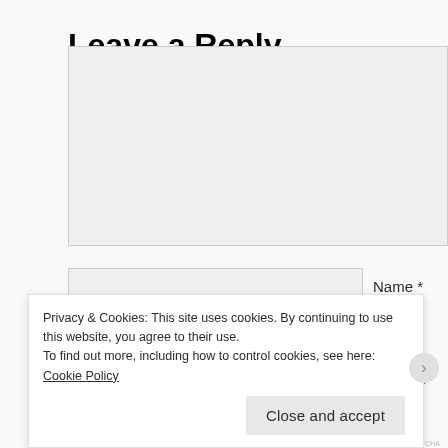Leave a Reply
[Figure (screenshot): Comment text area input box, large, light gray background]
Name *
Email *
Website
Privacy & Cookies: This site uses cookies. By continuing to use this website, you agree to their use.
To find out more, including how to control cookies, see here: Cookie Policy
Close and accept